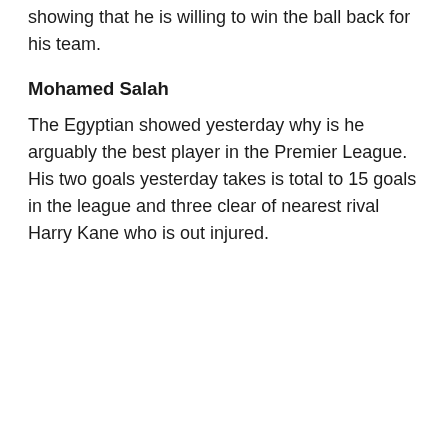showing that he is willing to win the ball back for his team.
Mohamed Salah
The Egyptian showed yesterday why is he arguably the best player in the Premier League. His two goals yesterday takes is total to 15 goals in the league and three clear of nearest rival Harry Kane who is out injured.